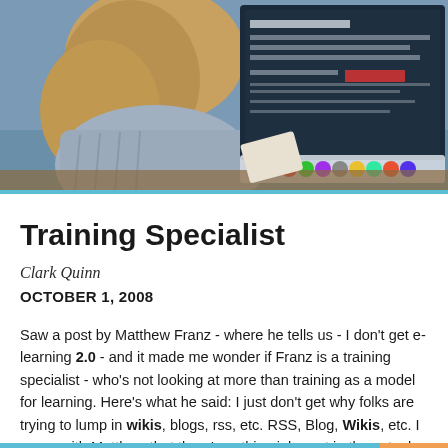[Figure (photo): Woman with blonde hair sitting at a desk viewed from behind, looking at an iMac computer screen displaying what appears to be a webpage or application. The monitor shows colorful icons in the dock. The image has a blue-grey tones.]
Training Specialist
Clark Quinn
OCTOBER 1, 2008
Saw a post by Matthew Franz - where he tells us - I don't get e-learning 2.0 - and it made me wonder if Franz is a training specialist - who's not looking at more than training as a model for learning. Here's what he said: I just don't get why folks are trying to lump in wikis, blogs, rss, etc. RSS, Blog, Wikis, etc. I agree with Matthew that there's nothing inherent in these tools that makes them an eLearning tool.